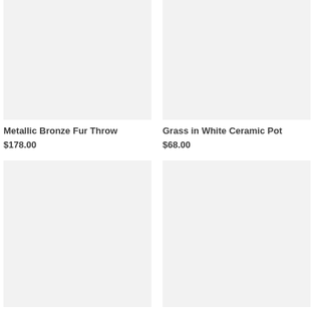[Figure (photo): Product image placeholder for Metallic Bronze Fur Throw, light gray background]
Metallic Bronze Fur Throw
$178.00
[Figure (photo): Product image placeholder for Grass in White Ceramic Pot, light gray background]
Grass in White Ceramic Pot
$68.00
[Figure (photo): Product image placeholder, bottom left, light gray background]
[Figure (photo): Product image placeholder, bottom right, light gray background]